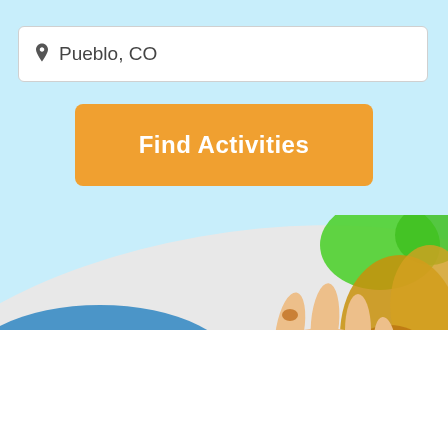Pueblo, CO
Find Activities
[Figure (photo): A child's hand holding a paintbrush over a colorful finger-painted artwork with blue, green, pink, and gold/yellow paint on white paper]